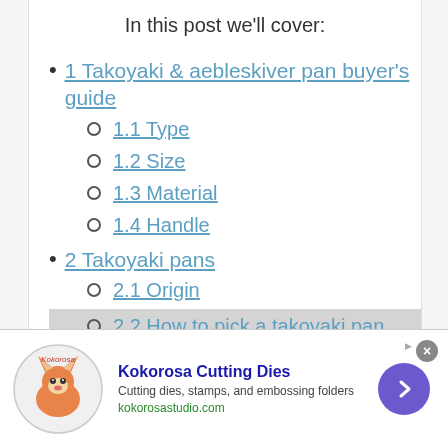In this post we'll cover:
1 Takoyaki & aebleskiver pan buyer's guide
1.1 Type
1.2 Size
1.3 Material
1.4 Handle
2 Takoyaki pans
2.1 Origin
2.2 How to pick a takoyaki pan